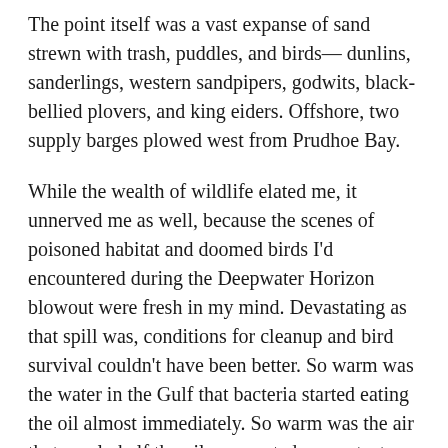The point itself was a vast expanse of sand strewn with trash, puddles, and birds— dunlins, sanderlings, western sandpipers, godwits, black-bellied plovers, and king eiders. Offshore, two supply barges plowed west from Prudhoe Bay.
While the wealth of wildlife elated me, it unnerved me as well, because the scenes of poisoned habitat and doomed birds I'd encountered during the Deepwater Horizon blowout were fresh in my mind. Devastating as that spill was, conditions for cleanup and bird survival couldn't have been better. So warm was the water in the Gulf that bacteria started eating the oil almost immediately. So warm was the air that nearly half the oil evaporated on contact. Daylight was long, seas mostly gentle. Still,